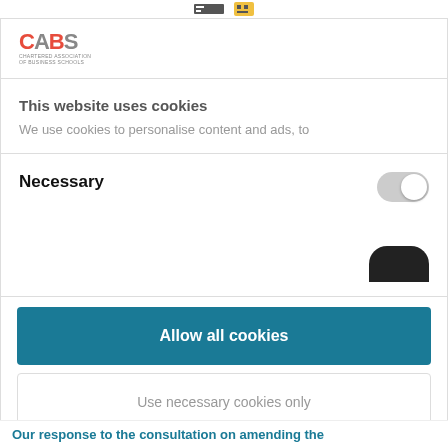[Figure (logo): CABS logo — Chartered Association of Business Schools]
This website uses cookies
We use cookies to personalise content and ads, to
Necessary
Allow all cookies
Use necessary cookies only
Powered by Cookiebot by Usercentrics
Our response to the consultation on amending the